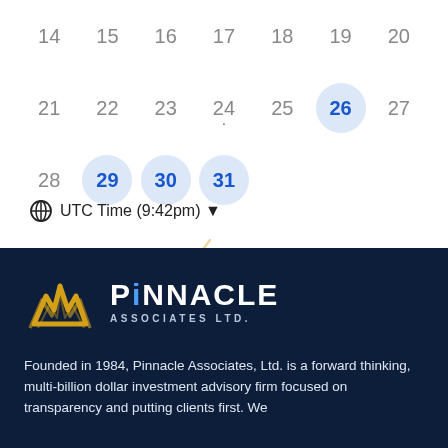[Figure (screenshot): Calendar grid showing dates 14-31, with 26, 29, 30, 31 highlighted in blue circles, and a dot under 24]
UTC Time (9:42pm) ▼
[Figure (logo): Pinnacle Associates Ltd. logo with gold geometric chevron mark and white text on dark navy background]
Founded in 1984, Pinnacle Associates, Ltd. is a forward thinking, multi-billion dollar investment advisory firm focused on transparency and putting clients first. We